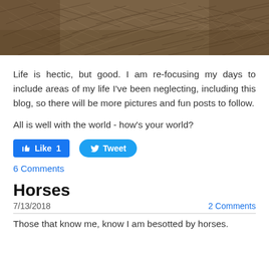[Figure (photo): Close-up photo of dry, tangled grass or brush on the ground, brownish-gray tones]
Life is hectic, but good. I am re-focusing my days to include areas of my life I've been neglecting, including this blog, so there will be more pictures and fun posts to follow.
All is well with the world - how's your world?
[Figure (screenshot): Facebook Like button showing count of 1, and a Twitter Tweet button]
6 Comments
Horses
7/13/2018
2 Comments
Those that know me, know I am besotted by horses.